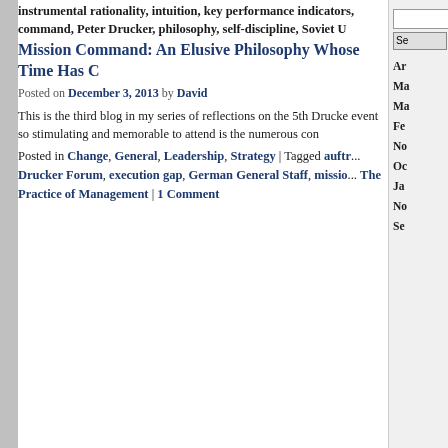instrumental rationality, intuition, key performance indicator, command, Peter Drucker, philosophy, self-discipline, Soviet U...
Mission Command: An Elusive Philosophy Whose Time Has C...
Posted on December 3, 2013 by David
This is the third blog in my series of reflections on the 5th Drucke... event so stimulating and memorable to attend is the numerous con...
Posted in Change, General, Leadership, Strategy | Tagged auftr... Drucker Forum, execution gap, German General Staff, missio... The Practice of Management | 1 Comment